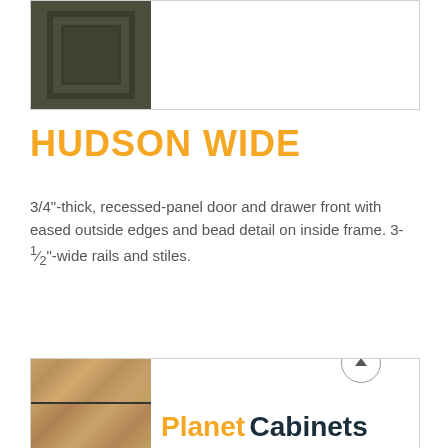[Figure (photo): Dark olive/green recessed-panel cabinet door sample shown on left side of a bordered box]
HUDSON WIDE
3/4"-thick, recessed-panel door and drawer front with eased outside edges and bead detail on inside frame. 3-½"-wide rails and stiles.
[Figure (photo): Light wood grain cabinet door sample (two panels visible) shown on left side of a bordered box; Planet Cabinets logo text visible on right]